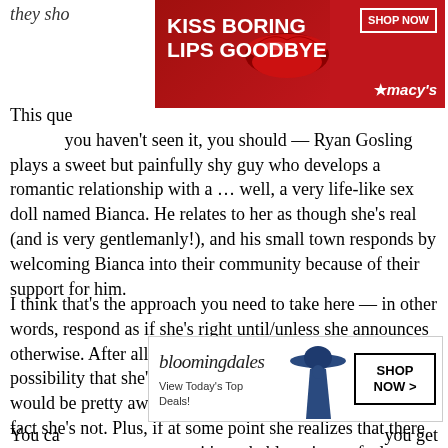they sho…
[Figure (photo): Macy's advertisement banner — red background with bold white text 'KISS BORING LIPS GOODBYE', a close-up of lips with red lipstick, 'SHOP NOW' button, and Macy's star logo]
This que… you haven't seen it, you should — Ryan Gosling plays a sweet but painfully shy guy who develops a romantic relationship with a … well, a very life-like sex doll named Bianca. He relates to her as though she's real (and is very gentlemanly!), and his small town responds by welcoming Bianca into their community because of their support for him.
I think that's the approach you need to take here — in other words, respond as if she's right until/unless she announces otherwise. After all, while there's only an infinitesimal possibility that she's right, there's still that chance … and it would be pretty awful to respond as if she's delusional if in fact she's not. Plus, if at some point she realizes that there never was any pregnancy, it's probably going to feel worse to her to realize that everyone knew all along. And it doesn't sound like you're close enough with her to have the type of heart-to-heart that you [CLOSE] have with a c…
[Figure (photo): Bloomingdale's advertisement with logo, 'View Today's Top Deals!' text, silhouette of woman in wide-brim hat, and 'SHOP NOW >' button]
You ca… you get